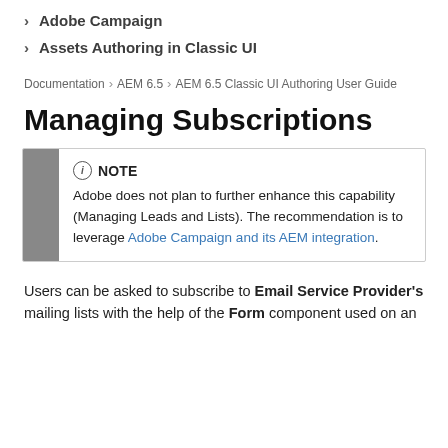Adobe Campaign
Assets Authoring in Classic UI
Documentation > AEM 6.5 > AEM 6.5 Classic UI Authoring User Guide
Managing Subscriptions
NOTE
Adobe does not plan to further enhance this capability (Managing Leads and Lists). The recommendation is to leverage Adobe Campaign and its AEM integration.
Users can be asked to subscribe to Email Service Provider's mailing lists with the help of the Form component used on an